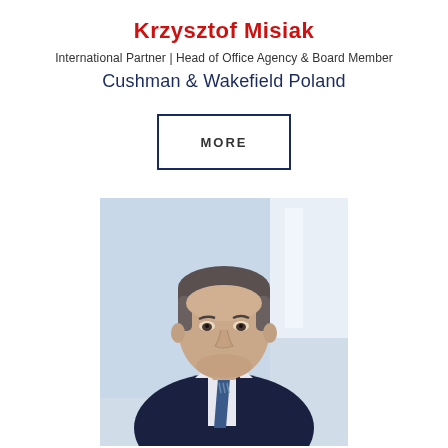Krzysztof Misiak
International Partner | Head of Office Agency & Board Member
Cushman & Wakefield Poland
[Figure (other): A rectangular button/link with border labeled MORE in bold spaced caps]
[Figure (photo): Professional headshot photo of Krzysztof Misiak, a middle-aged man with short grey-brown hair wearing a dark navy suit and striped tie, photographed against a bright office background]